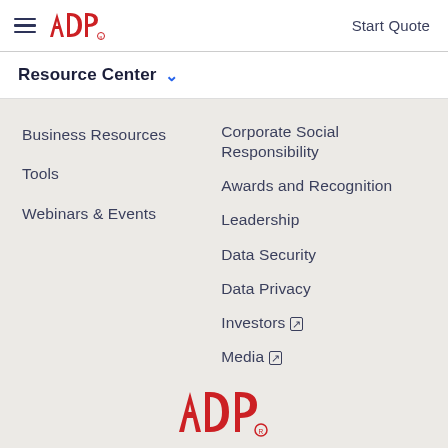ADP — Start Quote
Resource Center ∨
Business Resources
Tools
Webinars & Events
Corporate Social Responsibility
Awards and Recognition
Leadership
Data Security
Data Privacy
Investors ↗
Media ↗
[Figure (logo): ADP logo at page bottom]